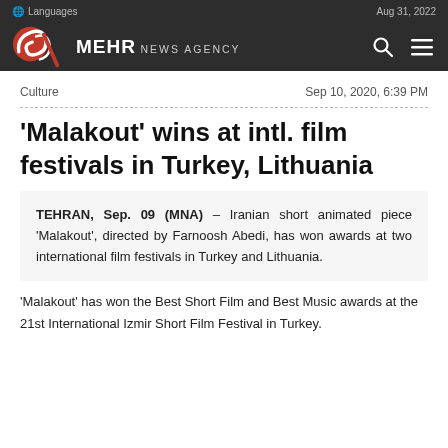🌐 Languages | Aug 31, 2022 | MEHR NEWS AGENCY
Culture | Sep 10, 2020, 6:39 PM
'Malakout' wins at intl. film festivals in Turkey, Lithuania
TEHRAN, Sep. 09 (MNA) – Iranian short animated piece 'Malakout', directed by Farnoosh Abedi, has won awards at two international film festivals in Turkey and Lithuania.
'Malakout' has won the Best Short Film and Best Music awards at the 21st International Izmir Short Film Festival in Turkey.